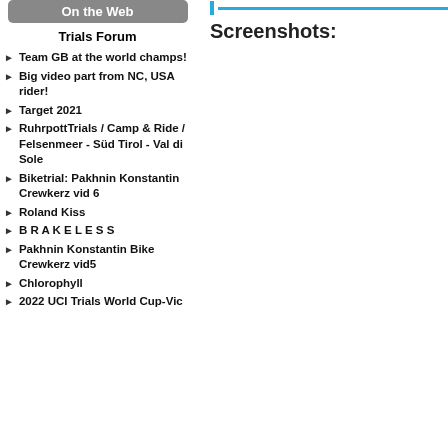On the Web
Trials Forum
Team GB at the world champs!
Big video part from NC, USA rider!
Target 2021
RuhrpottTrials / Camp & Ride / Felsenmeer - Süd Tirol - Val di Sole
Biketrial: Pakhnin Konstantin Crewkerz vid 6
Roland Kiss
B R A K E L E S S
Pakhnin Konstantin Bike Crewkerz vid5
Chlorophyll
2022 UCI Trials World Cup-Vic
Screenshots: